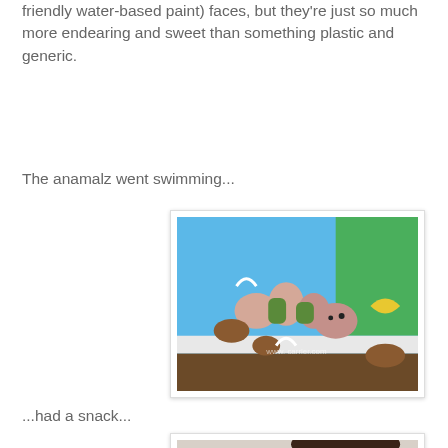friendly water-based paint) faces, but they're just so much more endearing and sweet than something plastic and generic.
The anamalz went swimming...
[Figure (photo): Photo of wooden animal toy pieces (anamalz) arranged on a blue fabric swimming mat with green and brown elements, with a watermarked URL visible.]
...had a snack...
[Figure (photo): Photo of a child with dark hair, partially visible, appearing to be sitting at a table with something green in front of them.]